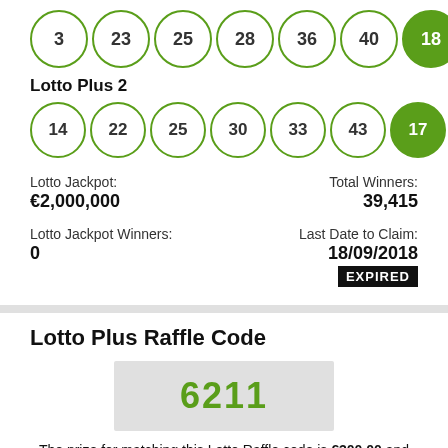[Figure (illustration): Lotto balls row: 3, 23, 25, 28, 36, 40 (outlined green circles) and 18 (filled green bonus ball)]
Lotto Plus 2
[Figure (illustration): Lotto Plus 2 balls row: 14, 22, 25, 30, 33, 43 (outlined green circles) and 17 (filled green bonus ball)]
Lotto Jackpot: €2,000,000
Total Winners: 39,415
Lotto Jackpot Winners: 0
Last Date to Claim: 18/09/2018 EXPIRED
Lotto Plus Raffle Code
[Figure (other): Raffle code display box showing 6211 in large green text on grey background]
The prize for matching this Lotto Raffle code is €300.00 and there were 71 winners in this draw.